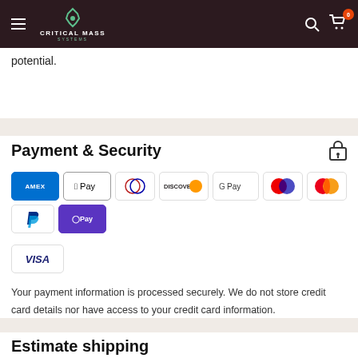Critical Mass Systems
potential.
Payment & Security
[Figure (logo): Payment method logos: Amex, Apple Pay, Diners, Discover, Google Pay, Maestro, Mastercard, PayPal, OPay, Visa]
Your payment information is processed securely. We do not store credit card details nor have access to your credit card information.
Estimate shipping